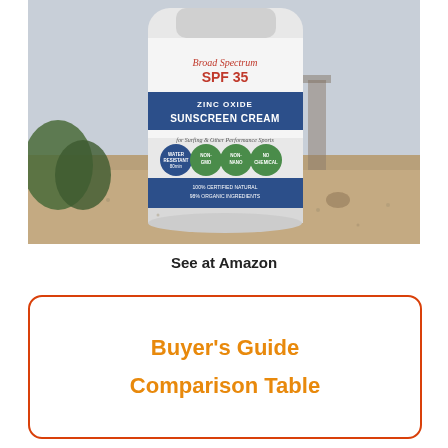[Figure (photo): Photo of a white sunscreen tube labeled 'Broad Spectrum SPF 35 Zinc Oxide Sunscreen Cream for Surfing & Other Performance Sports' with badges for Water Resistant 80min, Non-GMO, Non-Nano, No Chemical. The tube sits in sand at a beach with blurred background.]
See at Amazon
Buyer's Guide
Comparison Table